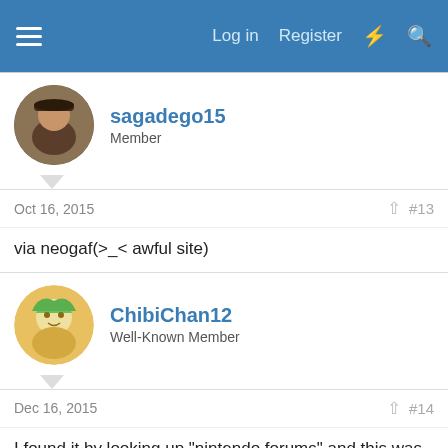Log in  Register
sagadego15
Member
Oct 16, 2015   #13
via neogaf(>_< awful site)
ChibiChan12
Well-Known Member
Dec 16, 2015   #14
I found it by looking up "nintendo forums" and this was the third one or so on the list. It's really a nice, friendly place that seems different compared to the other gaming sites. I've seen other ones and the people are just so negative and wanting to criticize you just because of a certain game you like or dislike. Like I said it's a really nice, clean place and I congratulate you for